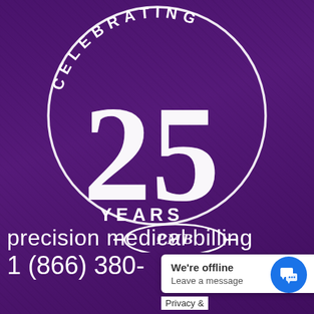[Figure (logo): Celebrating 25 Years PMB (Precision Medical Billing) anniversary logo — large white circle with 'CELEBRATING' text arced at top, large '25' numeral, 'YEARS' text, and a PMB oval badge at bottom, all in white on deep purple background with aerial city photo texture]
precision medical billing
1 (866) 380-
We're offline
Leave a message
Privacy &